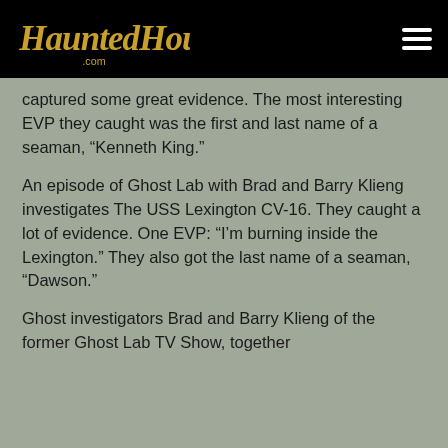HauntedHouses.com
captured some great evidence. The most interesting EVP they caught was the first and last name of a seaman, “Kenneth King.”
An episode of Ghost Lab with Brad and Barry Klieng investigates The USS Lexington CV-16. They caught a lot of evidence. One EVP: “I’m burning inside the Lexington.” They also got the last name of a seaman, “Dawson.”
Ghost investigators Brad and Barry Klieng of the former Ghost Lab TV Show, together